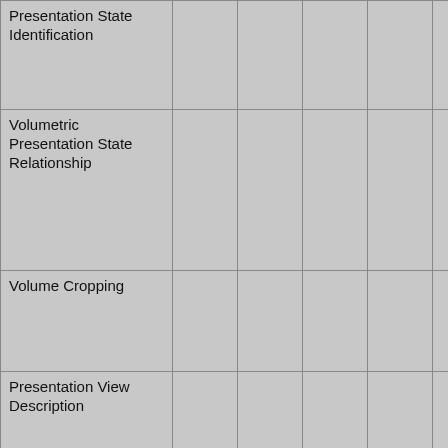| Presentation State Identification |  |  |  |  |  |  |
| Volumetric Presentation State Relationship |  |  |  |  |  | N |
| Volume Cropping |  |  |  |  |  | C |
| Presentation View Description |  |  |  |  |  | N |
| Multi-Planar Reconstruction Geometry |  |  |  |  |  | N |
| Volume Render Geometry |  |  |  |  |  |  |
| Render Shading |  |  |  |  |  |  |
|  |  |  |  |  |  |  |